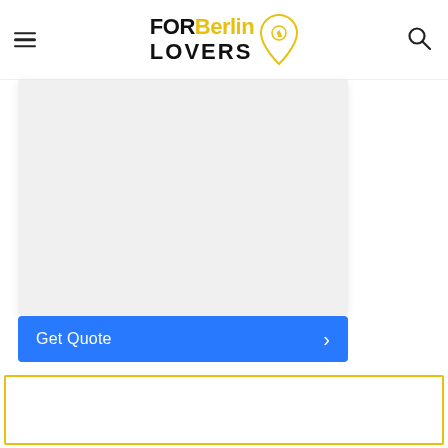[Figure (logo): FORBerlinLOVERS logo with hamburger menu icon on left and search icon on right]
[Figure (screenshot): Light gray map or content placeholder area]
Get Quote >
[Figure (other): Yellow-bordered empty box at bottom of page]